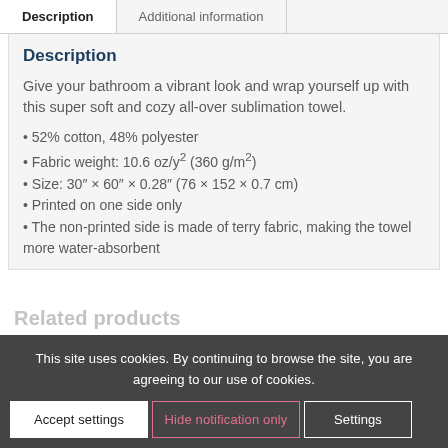Description | Additional information
Description
Give your bathroom a vibrant look and wrap yourself up with this super soft and cozy all-over sublimation towel.
• 52% cotton, 48% polyester
• Fabric weight: 10.6 oz/y² (360 g/m²)
• Size: 30″ × 60″ × 0.28″ (76 × 152 × 0.7 cm)
• Printed on one side only
• The non-printed side is made of terry fabric, making the towel more water-absorbent
Related products
This site uses cookies. By continuing to browse the site, you are agreeing to our use of cookies.
Accept settings | Hide notification only | Settings